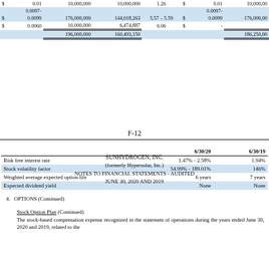| $ |  |  |  |  | $ |  |  |
| --- | --- | --- | --- | --- | --- | --- | --- |
| $ | 0.01 | 10,000,000 | 10,000,000 | 1.26 | $ | 0.01 | 10,000,00 |
|  | 0.0097- |  |  |  |  | 0.0097- |  |
| $ | 0.0099 | 176,000,000 | 144,018,263 | 5.57 – 5.59 | $ | 0.0099 | 176,000,00 |
| $ | 0.0060 | 10,000,000 | 6,474,887 | 6.06 | $ | - |  |
|  |  | 196,000,000 | 160,493,150 |  |  |  | 186,250,00 |
|  | 6/30/20 | 6/30/19 |
| --- | --- | --- |
| Risk free interest rate | 1.47% - 2.58% | 1.94% |
| Stock volatility factor | 54.99% - 189.01% | 146% |
| Weighted average expected option life | 6 years | 7 years |
| Expected dividend yield | None | None |
F-12
SUNHYDROGEN, INC.
(formerly Hypersolar, Inc.)
NOTES TO FINANCIAL STATEMENTS - AUDITED
JUNE 30, 2020 AND 2019
4.   OPTIONS (Continued)
Stock Option Plan (Continued)
The stock-based compensation expense recognized in the statement of operations during the years ended June 30, 2020 and 2019, related to the